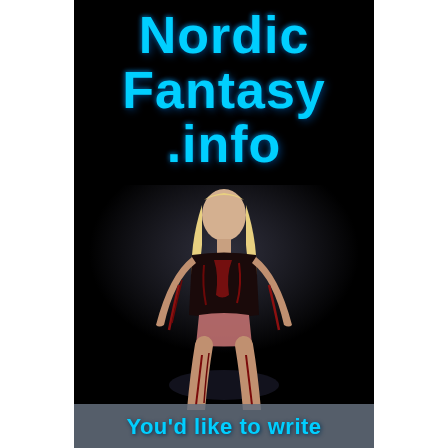Nordic Fantasy .info
[Figure (photo): A blonde woman covered in blood (dark/horror aesthetic) standing against a black background, full body shot]
You'd like to write